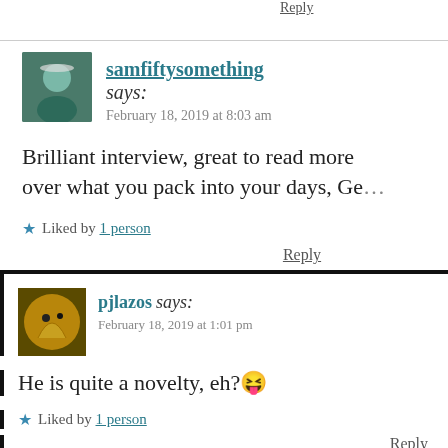Reply
samfiftysomething says:
February 18, 2019 at 8:03 am
Brilliant interview, great to read more over what you pack into your days, Geo
★ Liked by 1 person
Reply
pjlazos says:
February 18, 2019 at 1:01 pm
He is quite a novelty, eh?😜
★ Liked by 1 person
Reply